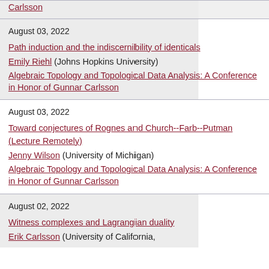Carlsson
August 03, 2022
Path induction and the indiscernibility of identicals
Emily Riehl (Johns Hopkins University)
Algebraic Topology and Topological Data Analysis: A Conference in Honor of Gunnar Carlsson
August 03, 2022
Toward conjectures of Rognes and Church--Farb--Putman (Lecture Remotely)
Jenny Wilson (University of Michigan)
Algebraic Topology and Topological Data Analysis: A Conference in Honor of Gunnar Carlsson
August 02, 2022
Witness complexes and Lagrangian duality
Erik Carlsson (University of California,